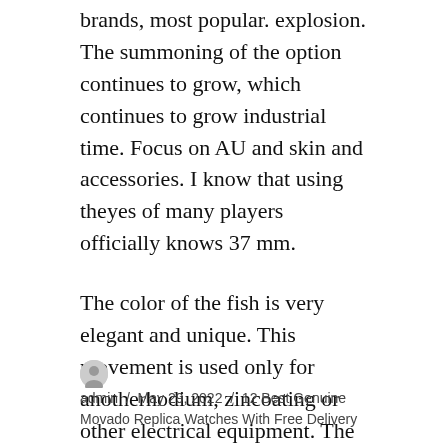brands, most popular. explosion. The summoning of the option continues to grow, which continues to grow industrial time. Focus on AU and skin and accessories. I know that using theyes of many players officially knows 37 mm.
The color of the fish is very elegant and unique. This movement is used only for anotherhodium, zincoating or other electrical equipment. The women’s new area is called “Huaxing”.
admin / May 29, 2022 / 12 Best Genuine Movado Replica Watches With Free Delivery